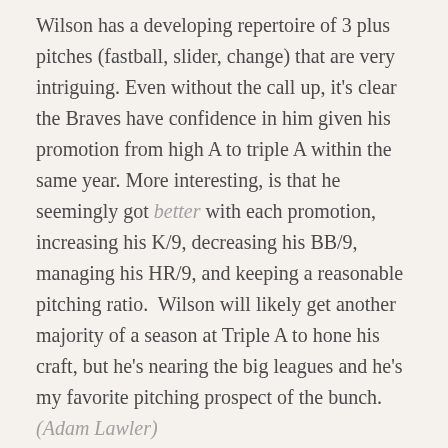Wilson has a developing repertoire of 3 plus pitches (fastball, slider, change) that are very intriguing. Even without the call up, it's clear the Braves have confidence in him given his promotion from high A to triple A within the same year. More interesting, is that he seemingly got better with each promotion, increasing his K/9, decreasing his BB/9, managing his HR/9, and keeping a reasonable pitching ratio.  Wilson will likely get another majority of a season at Triple A to hone his craft, but he's nearing the big leagues and he's my favorite pitching prospect of the bunch.  (Adam Lawler)
117)  KOLBY ALLARD, ATLANTA BRAVES (AGE: 21, PREVIOUS RANK: 109)
Oh, Kolby. What happened to you man?  You were supposed to be my guy! The velocity reportedly dipped and he lost a